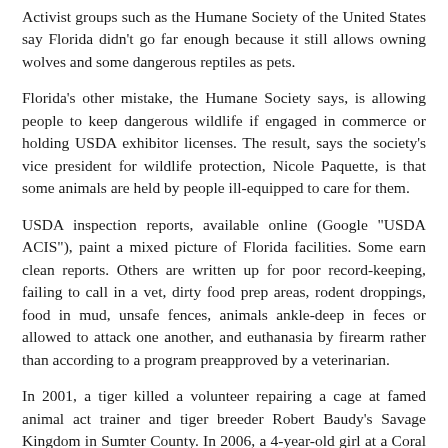Activist groups such as the Humane Society of the United States say Florida didn't go far enough because it still allows owning wolves and some dangerous reptiles as pets.
Florida's other mistake, the Humane Society says, is allowing people to keep dangerous wildlife if engaged in commerce or holding USDA exhibitor licenses. The result, says the society's vice president for wildlife protection, Nicole Paquette, is that some animals are held by people ill-equipped to care for them.
USDA inspection reports, available online (Google "USDA ACIS"), paint a mixed picture of Florida facilities. Some earn clean reports. Others are written up for poor record-keeping, failing to call in a vet, dirty food prep areas, rodent droppings, food in mud, unsafe fences, animals ankle-deep in feces or allowed to attack one another, and euthanasia by firearm rather than according to a program preapproved by a veterinarian.
In 2001, a tiger killed a volunteer repairing a cage at famed animal act trainer and tiger breeder Robert Baudy's Savage Kingdom in Sumter County. In 2006, a 4-year-old girl at a Coral Gables birthday party startled a cougar brought as entertainment and was mauled. In 2014, at Mario Tabraue's Zoological Wildlife in Miami-Dade, a white tiger named Goliath bit off a construction worker's thumb.